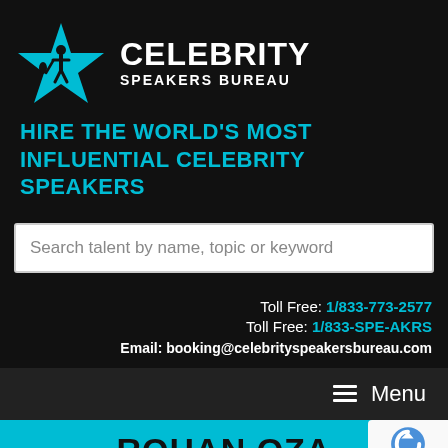[Figure (logo): Celebrity Speakers Bureau logo with cyan star and white wordmark]
HIRE THE WORLD'S MOST INFLUENTIAL CELEBRITY SPEAKERS
Search talent by name, topic or keyword
Toll Free: 1/833-773-2577
Toll Free: 1/833-SPE-AKRS
Email: booking@celebrityspeakersbureau.com
≡ Menu
ROHAN OZA